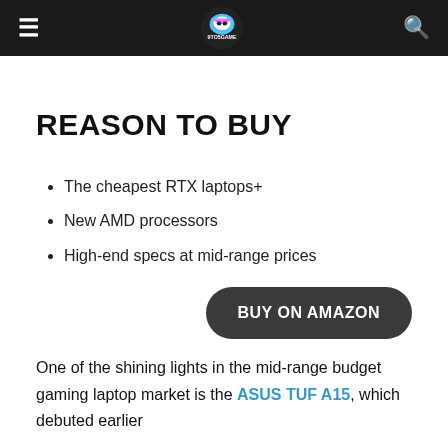9TO5GAME (logo/navigation bar)
REASON TO BUY
The cheapest RTX laptops+
New AMD processors
High-end specs at mid-range prices
BUY ON AMAZON
One of the shining lights in the mid-range budget gaming laptop market is the ASUS TUF A15, which debuted earlier